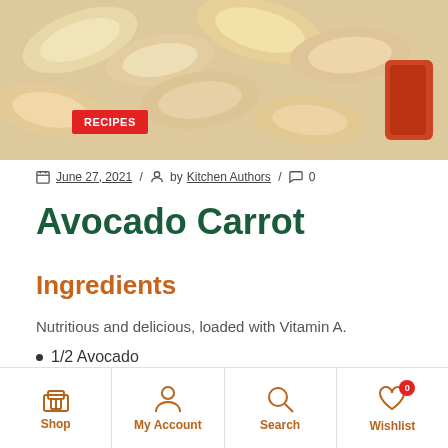[Figure (photo): Close-up photo of sliced avocado, apple, and carrot pieces on a white background]
RECIPES
June 27, 2021 / by Kitchen Authors / 0
Avocado Carrot
Ingredients
Nutritious and delicious, loaded with Vitamin A.
1/2 Avocado
Baby Spinach greens
Apple
Carrot
Shop | My Account | Search | Wishlist 0